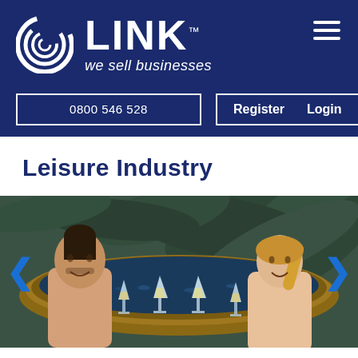[Figure (logo): LINK Business logo with circular icon and tagline 'we sell businesses' on dark navy background]
0800 546 528   Register   Login
Leisure Industry
[Figure (photo): A couple in a hot tub clinking champagne glasses, surrounded by tropical plants]